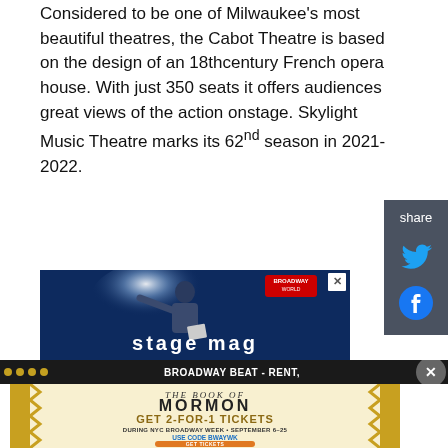Considered to be one of Milwaukee's most beautiful theatres, the Cabot Theatre is based on the design of an 18thcentury French opera house. With just 350 seats it offers audiences great views of the action onstage. Skylight Music Theatre marks its 62nd season in 2021-2022.
[Figure (screenshot): Advertisement image showing a performer on a dark stage with bright spotlight, holding papers and gesturing, with 'stage mag' text overlay and Broadway World badge]
[Figure (screenshot): Ad banner: BROADWAY BEAT - RENT with close button]
[Figure (screenshot): Advertisement for The Book of Mormon - GET 2-FOR-1 TICKETS DURING NYC BROADWAY WEEK, SEPTEMBER 6-25, USE CODE BWAYWK, GET TICKETS button]